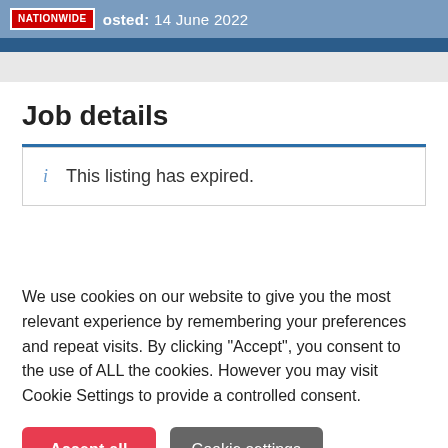NATIONWIDE Posted: 14 June 2022
Job details
This listing has expired.
We use cookies on our website to give you the most relevant experience by remembering your preferences and repeat visits. By clicking “Accept”, you consent to the use of ALL the cookies. However you may visit Cookie Settings to provide a controlled consent.
Accept all | Cookie settings | Read More